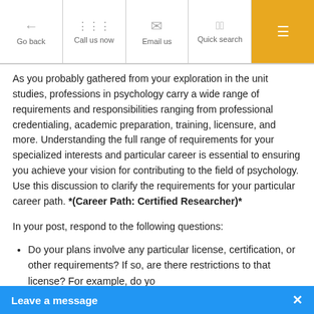Go back | Call us now | Email us | Quick search | Menu
As you probably gathered from your exploration in the unit studies, professions in psychology carry a wide range of requirements and responsibilities ranging from professional credentialing, academic preparation, training, licensure, and more. Understanding the full range of requirements for your specialized interests and particular career is essential to ensuring you achieve your vision for contributing to the field of psychology. Use this discussion to clarify the requirements for your particular career path. *(Career Path: Certified Researcher)*
In your post, respond to the following questions:
Do your plans involve any particular license, certification, or other requirements? If so, are there restrictions to that license? For example, do yo...